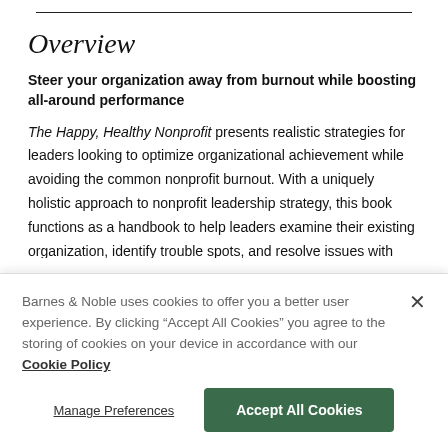Overview
Steer your organization away from burnout while boosting all-around performance
The Happy, Healthy Nonprofit presents realistic strategies for leaders looking to optimize organizational achievement while avoiding the common nonprofit burnout. With a uniquely holistic approach to nonprofit leadership strategy, this book functions as a handbook to help leaders examine their existing organization, identify trouble spots, and resolve issues with
Barnes & Noble uses cookies to offer you a better user experience. By clicking “Accept All Cookies” you agree to the storing of cookies on your device in accordance with our Cookie Policy
Manage Preferences
Accept All Cookies